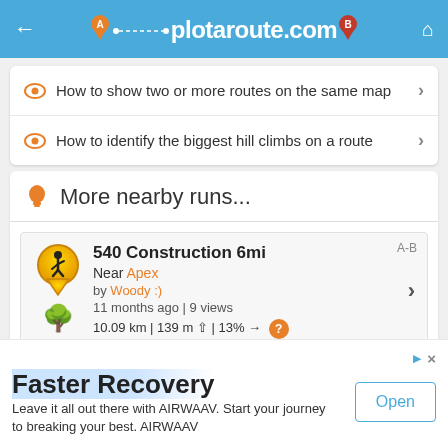plotaroute.com
How to show two or more routes on the same map
How to identify the biggest hill climbs on a route
More nearby runs...
540 Construction 6mi
Near Apex
by Woody :)
11 months ago | 9 views
10.09 km | 139 m ↑ | 13% →
Faster Recovery
Leave it all out there with AIRWAAV. Start your journey to breaking your best. AIRWAAV